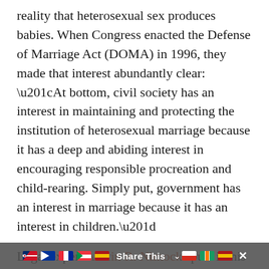reality that heterosexual sex produces babies. When Congress enacted the Defense of Marriage Act (DOMA) in 1996, they made that interest abundantly clear: “At bottom, civil society has an interest in maintaining and protecting the institution of heterosexual marriage because it has a deep and abiding interest in encouraging responsible procreation and child-rearing. Simply put, government has an interest in marriage because it has an interest in children.”
Legal expert Austin R. Nimocks puts it this way: “Marriage laws stem from the fact that children are the natural product of sexual relationships between men and women, and that both fathers and mothers are viewed to
Share This